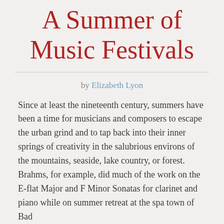A Summer of Music Festivals
by Elizabeth Lyon
Since at least the nineteenth century, summers have been a time for musicians and composers to escape the urban grind and to tap back into their inner springs of creativity in the salubrious environs of the mountains, seaside, lake country, or forest. Brahms, for example, did much of the work on the E-flat Major and F Minor Sonatas for clarinet and piano while on summer retreat at the spa town of Bad